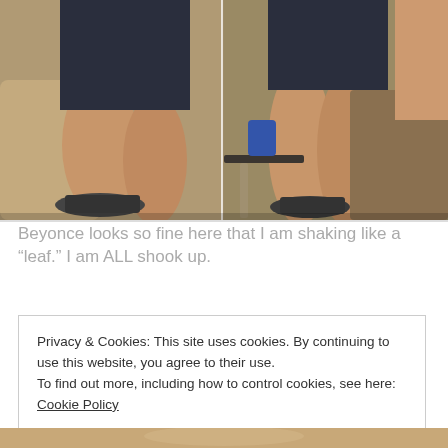[Figure (photo): Two side-by-side photos showing a woman (Beyonce) seated and standing, wearing a dark navy dress and decorative sandal heels, in what appears to be a television studio setting.]
Beyonce looks so fine here that I am shaking like a “leaf.” I am ALL shook up.
Privacy & Cookies: This site uses cookies. By continuing to use this website, you agree to their use.
To find out more, including how to control cookies, see here: Cookie Policy
Close and accept